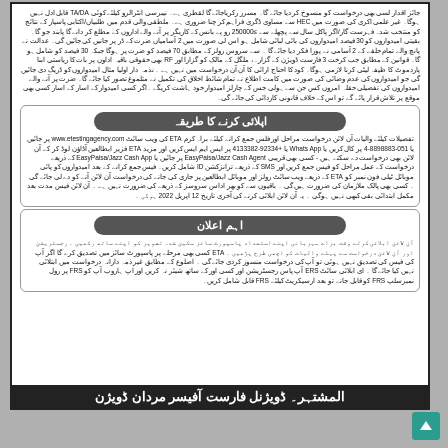Urdu text block - top paragraph about TA/DA, HEC, 250000 rupees, 30 quota, candidates criteria
اپلائی کرنے کا طریقہ
Urdu text about online application via www.etestingagency.com, ETA, Whats App 051-8898883-4, +92334-4133382, EasyPaisa/Jazz Cash Agent, EasyPaisa/Jazz Cash App, SMS, BPS(01-08) fee 399 Rs, last date 12 April 2022
اہم اعلان
Urdu text about online application, ERS, FRS portal registration
المشتہر۔ ڈویژنل فارست آفیسر مردان ڈویژن